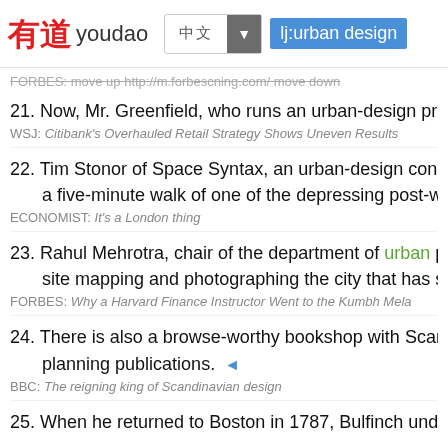有道 youdao | lj:urban design
FORBES: move up http://m.forbesching.com/ move down
21. Now, Mr. Greenfield, who runs an urban-design practice in Manhattan
WSJ: Citibank's Overhauled Retail Strategy Shows Uneven Results
22. Tim Stonor of Space Syntax, an urban-design consultancy, points out a five-minute walk of one of the depressing post-war housing estates
ECONOMIST: It's a London thing
23. Rahul Mehrotra, chair of the department of urban planning and design site mapping and photographing the city that has sprung up here.
FORBES: Why a Harvard Finance Instructor Went to the Kumbh Mela
24. There is also a browse-worthy bookshop with Scandinavia's largest s planning publications.
BBC: The reigning king of Scandinavian design
25. When he returned to Boston in 1787, Bulfinch undertook several civic